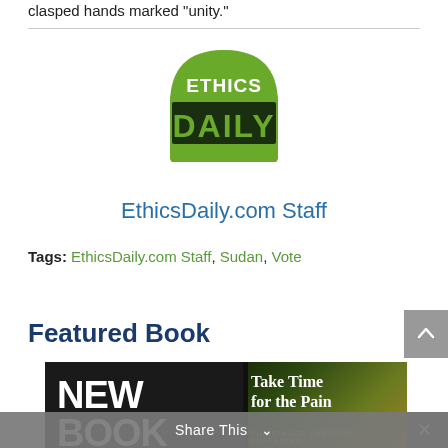clasped hands marked 'unity.'
[Figure (logo): Ethics Daily logo — green dome shape with 'ETHICS' text on top and 'DAILY' in large green letters below, dark background behind DAILY]
EthicsDaily.com Staff
Tags: EthicsDaily.com Staff, Sudan, Vote
Featured Book
[Figure (photo): Book advertisement image with dark background. Left side shows 'NEW BOOK' in large bold white text. Right side shows a nature/forest scene with overlay text 'Take Time for the Pain' and subtitle 'PILGRIMAGE THROUGH SUFFERING']
Share This